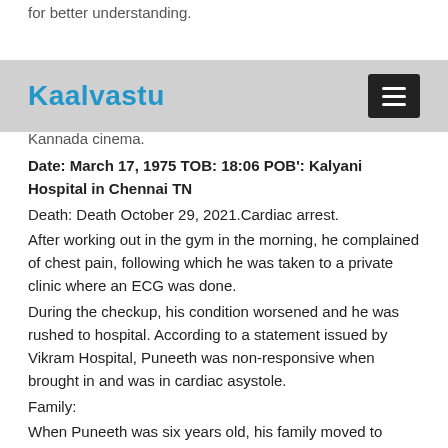for better understanding.
Late sri Puneeth Kaalvastu known as Appu, was an Indian actor, playback singer, television presenter, and producer who worked primarily in Kannada cinema.
Kaalvastu
Date: March 17, 1975 TOB: 18:06 POB': Kalyani Hospital in Chennai TN
Death: Death October 29, 2021.Cardiac arrest.
After working out in the gym in the morning, he complained of chest pain, following which he was taken to a private clinic where an ECG was done.
During the checkup, his condition worsened and he was rushed to hospital. According to a statement issued by Vikram Hospital, Puneeth was non-responsive when brought in and was in cardiac asystole.
Family:
When Puneeth was six years old, his family moved to Mysore. His father brought him and his sister Poornima to his film sets until he was ten years old. His elder brother Shiva Rajkumar is an actor.